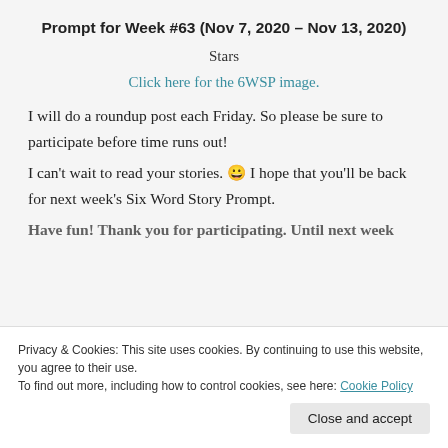Prompt for Week #63 (Nov 7, 2020 – Nov 13, 2020)
Stars
Click here for the 6WSP image.
I will do a roundup post each Friday. So please be sure to participate before time runs out!
I can't wait to read your stories. 😀 I hope that you'll be back for next week's Six Word Story Prompt.
Have fun! Thank you for participating. Until next week
Privacy & Cookies: This site uses cookies. By continuing to use this website, you agree to their use.
To find out more, including how to control cookies, see here: Cookie Policy
Close and accept